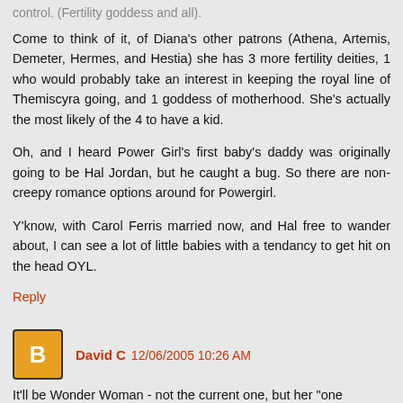control. (Fertility goddess and all).
Come to think of it, of Diana's other patrons (Athena, Artemis, Demeter, Hermes, and Hestia) she has 3 more fertility deities, 1 who would probably take an interest in keeping the royal line of Themiscyra going, and 1 goddess of motherhood. She's actually the most likely of the 4 to have a kid.
Oh, and I heard Power Girl's first baby's daddy was originally going to be Hal Jordan, but he caught a bug. So there are non-creepy romance options around for Powergirl.
Y'know, with Carol Ferris married now, and Hal free to wander about, I can see a lot of little babies with a tendancy to get hit on the head OYL.
Reply
David C 12/06/2005 10:26 AM
It'll be Wonder Woman - not the current one, but her "one